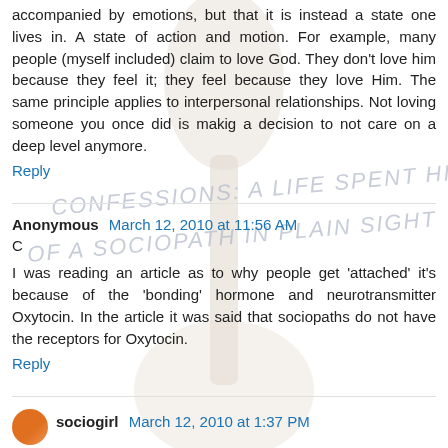accompanied by emotions, but that it is instead a state one lives in. A state of action and motion. For example, many people (myself included) claim to love God. They don't love him because they feel it; they feel because they love Him. The same principle applies to interpersonal relationships. Not loving someone you once did is makig a decision to not care on a deep level anymore.
Reply
Anonymous March 12, 2010 at 11:56 AM
C
I was reading an article as to why people get 'attached' it's because of the 'bonding' hormone and neurotransmitter Oxytocin. In the article it was said that sociopaths do not have the receptors for Oxytocin.
Reply
sociogirl March 12, 2010 at 1:37 PM